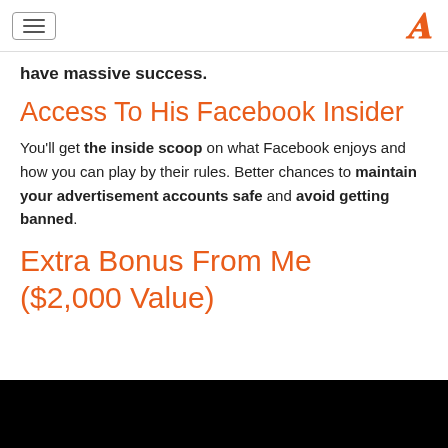[hamburger menu] [A logo]
have massive success.
Access To His Facebook Insider
You'll get the inside scoop on what Facebook enjoys and how you can play by their rules. Better chances to maintain your advertisement accounts safe and avoid getting banned.
Extra Bonus From Me ($2,000 Value)
[Figure (other): Black video player block]